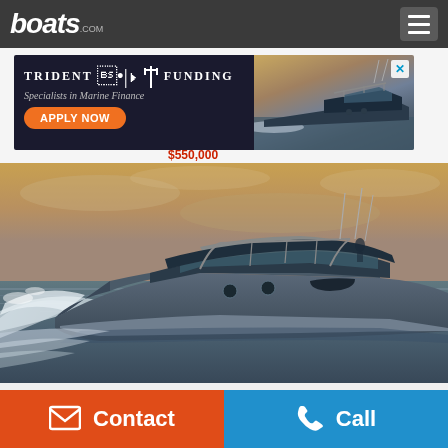boats.com
[Figure (screenshot): Trident Funding advertisement banner — 'TRIDENT FUNDING Specialists in Marine Finance' with orange APPLY NOW button and boat image]
$550,000
[Figure (photo): A dark grey sport cruiser motorboat speeding across open water with wake behind it, dramatic golden sky background]
Contact
Call